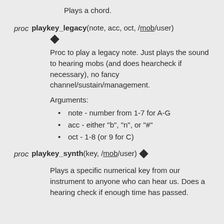Plays a chord.
proc playkey_legacy(note, acc, oct, /mob/user)
Proc to play a legacy note. Just plays the sound to hearing mobs (and does hearcheck if necessary), no fancy channel/sustain/management.
Arguments:
note - number from 1-7 for A-G
acc - either "b", "n", or "#"
oct - 1-8 (or 9 for C)
proc playkey_synth(key, /mob/user)
Plays a specific numerical key from our instrument to anyone who can hear us. Does a hearing check if enough time has passed.